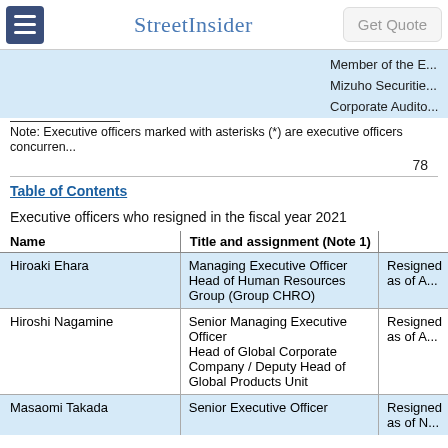StreetInsider
Member of the E...
Mizuho Securitie...
Corporate Audito...
Note: Executive officers marked with asterisks (*) are executive officers concurrently...
78
Table of Contents
Executive officers who resigned in the fiscal year 2021
| Name | Title and assignment (Note 1) |  |
| --- | --- | --- |
| Hiroaki Ehara | Managing Executive Officer
Head of Human Resources Group (Group CHRO) | Resigned as of A... |
| Hiroshi Nagamine | Senior Managing Executive Officer
Head of Global Corporate Company / Deputy Head of Global Products Unit | Resigned as of A... |
| Masaomi Takada | Senior Executive Officer | Resigned as of N... |